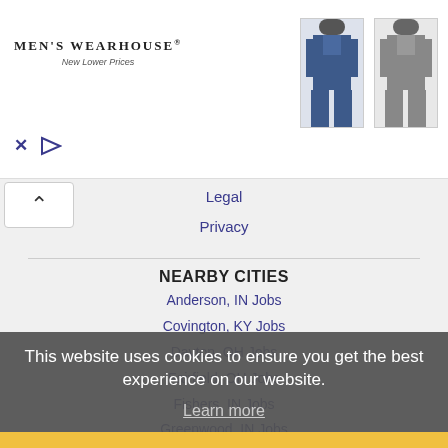[Figure (photo): Men's Wearhouse advertisement banner with logo and three men in suits]
Legal
Privacy
NEARBY CITIES
Anderson, IN Jobs
Covington, KY Jobs
Dayton, OH Jobs
Fairfield, OH Jobs
Fishers, IN Jobs
Greenwood, IN Jobs
Hamilton, OH Jobs
Indianapolis, IN Jobs
Kettering, OH Jobs
Lawrence, IN Jobs
This website uses cookies to ensure you get the best experience on our website.
Learn more
Got it!